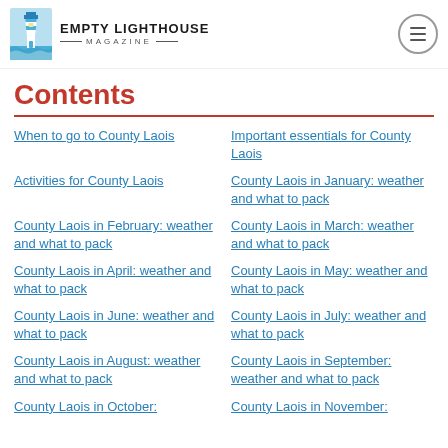Empty Lighthouse Magazine
Contents
When to go to County Laois
Important essentials for County Laois
Activities for County Laois
County Laois in January: weather and what to pack
County Laois in February: weather and what to pack
County Laois in March: weather and what to pack
County Laois in April: weather and what to pack
County Laois in May: weather and what to pack
County Laois in June: weather and what to pack
County Laois in July: weather and what to pack
County Laois in August: weather and what to pack
County Laois in September: weather and what to pack
County Laois in October:
County Laois in November: